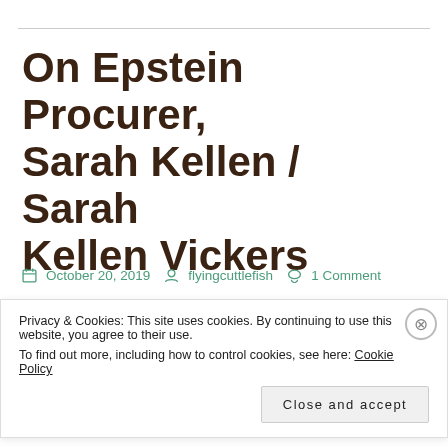On Epstein Procurer, Sarah Kellen / Sarah Kellen Vickers
October 20, 2019   flyingcuttlefish   1 Comment
The Cut – What We Know
Privacy & Cookies: This site uses cookies. By continuing to use this website, you agree to their use.
To find out more, including how to control cookies, see here: Cookie Policy
Close and accept